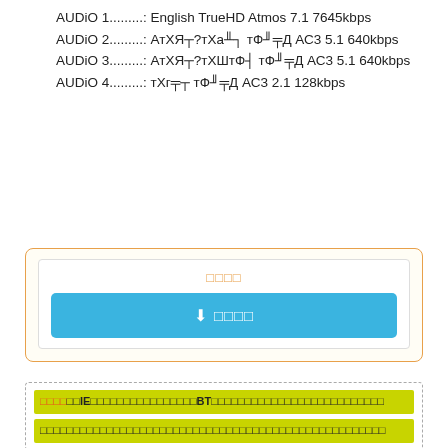AUDiO 1.........: English TrueHD Atmos 7.1 7645kbps
AUDiO 2.........: АтХЯ┬?тХа╨┐ тФ╜╤Д АС3 5.1 640kbps
AUDiO 3.........: АтХЯ┬?тХШтФ┤ тФ╜╤Д АС3 5.1 640kbps
AUDiO 4.........: тХг╤┬ тФ╜╤Д АС3 2.1 128kbps
[Figure (screenshot): Orange-bordered box with inner white box containing a centered orange label and a blue download button with download icon and Korean text]
[Figure (screenshot): Dashed border box containing two yellow-green bars with mixed orange bold and regular text in Korean/Chinese characters, including IE and BT labels]